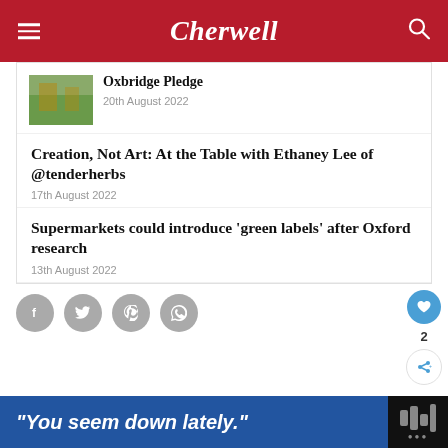Cherwell
Oxbridge Pledge
20th August 2022
Creation, Not Art: At the Table with Ethaney Lee of @tenderherbs
17th August 2022
Supermarkets could introduce 'green labels' after Oxford research
13th August 2022
[Figure (screenshot): Social share buttons: Facebook, Twitter, Pinterest, WhatsApp]
[Figure (screenshot): Advertisement banner: 'You seem down lately.']